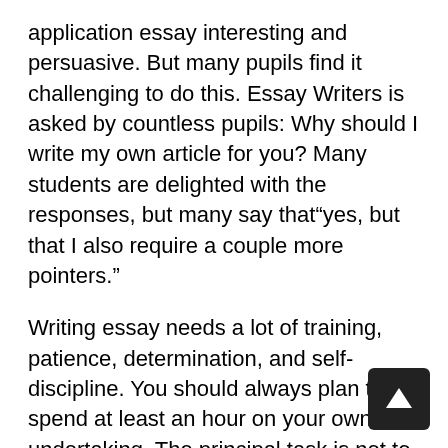application essay interesting and persuasive. But many pupils find it challenging to do this. Essay Writers is asked by countless pupils: Why should I write my own article for you? Many students are delighted with the responses, but many say that“yes, but that I also require a couple more pointers.”
Writing essay needs a lot of training, patience, determination, and self-discipline. You should always plan to spend at least an hour on your own undertaking. The principal task is not to prepare your essay except to compose it.
To be able to have a better result from your essay writing expertise, you need to prepare yourself before writing your own essay. You need to understand what you want to write about. This can